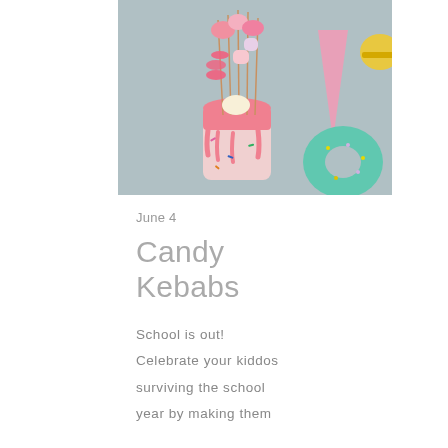[Figure (photo): A pink mason jar decorated with dripping pink paint and sprinkles, holding candy kebabs on wooden skewers with various pink and white candies, marshmallows, and round candies. To the right is a pink triangular decoration and a teal/mint colored donut with sprinkles. Background is gray/blue cloth.]
June 4
Candy Kebabs
School is out! Celebrate your kiddos surviving the school year by making them